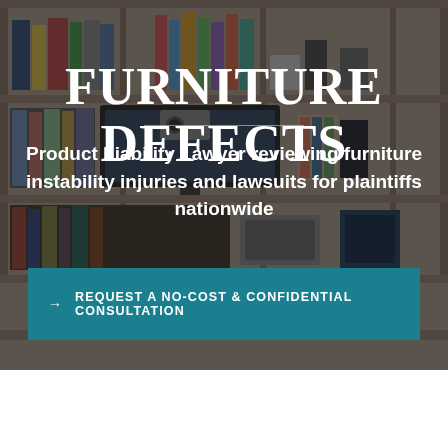[Figure (photo): Background photo of a bookshelf with books and electronics, overlaid with a dark semi-transparent overlay]
FURNITURE DEFECTS
Product Liability Lawyer reviewing furniture instability injuries and lawsuits for plaintiffs nationwide
→  REQUEST A NO-COST & CONFIDENTIAL CONSULTATION